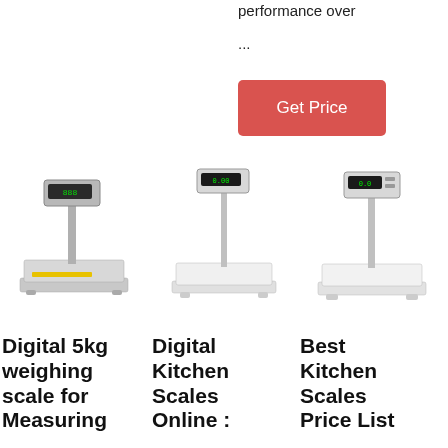performance over
...
Get Price
[Figure (photo): Digital 5kg weighing scale with pole-mounted display, stainless steel platform]
[Figure (photo): Digital kitchen scale with pole-mounted display, white platform]
[Figure (photo): Best kitchen scale with pole-mounted display, white platform]
Digital 5kg weighing scale for Measuring
Digital Kitchen Scales Online :
Best Kitchen Scales Price List